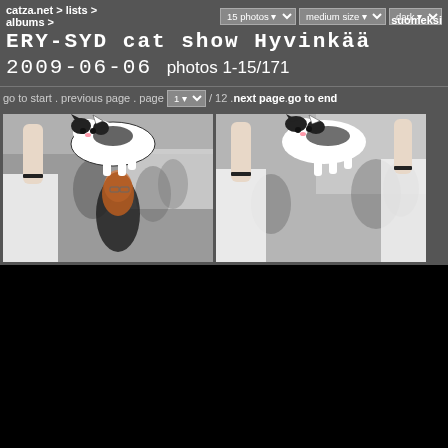catza.net > lists > albums > suomeksi | 15 photos | medium size | dark
ERY-SYD cat show Hyvinkää 2009-06-06 photos 1-15/171
go to start . previous page . page 1 / 12 . next page . go to end
[Figure (photo): Photo 1: Person holding up a black and white cat at a cat show, crowd visible in background]
[Figure (photo): Photo 2: Another angle of person holding up a black and white cat at the same cat show]